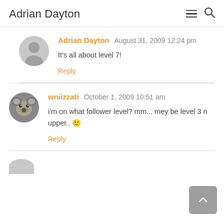Adrian Dayton
Adrian Dayton  August 31, 2009 12:24 pm
It's all about level 7!
Reply
wniizzati  October 1, 2009 10:51 am
i'm on what follower level? mm... mey be level 3 n upper.. 🙂
Reply